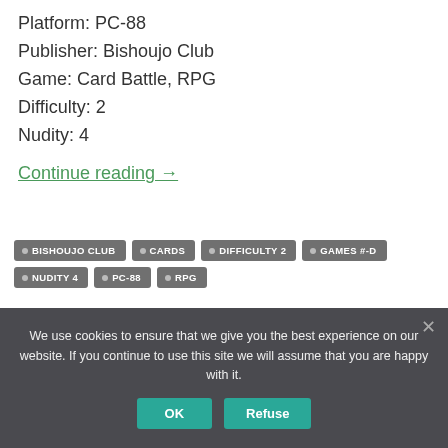Platform: PC-88
Publisher: Bishoujo Club
Game: Card Battle, RPG
Difficulty: 2
Nudity: 4
Continue reading →
BISHOUJO CLUB
CARDS
DIFFICULTY 2
GAMES #-D
NUDITY 4
PC-88
RPG
We use cookies to ensure that we give you the best experience on our website. If you continue to use this site we will assume that you are happy with it.